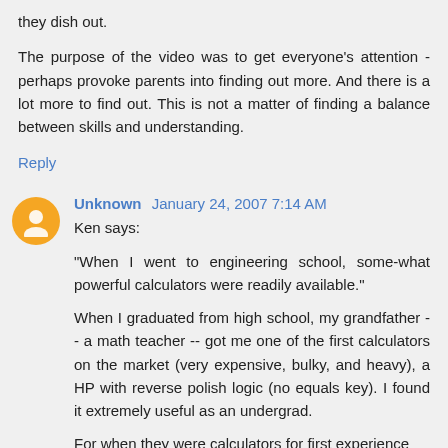they dish out.
The purpose of the video was to get everyone's attention - perhaps provoke parents into finding out more. And there is a lot more to find out. This is not a matter of finding a balance between skills and understanding.
Reply
Unknown  January 24, 2007 7:14 AM
Ken says:
"When I went to engineering school, some-what powerful calculators were readily available."
When I graduated from high school, my grandfather -- a math teacher -- got me one of the first calculators on the market (very expensive, bulky, and heavy), a HP with reverse polish logic (no equals key). I found it extremely useful as an undergrad.
For when they were calculators for first experience